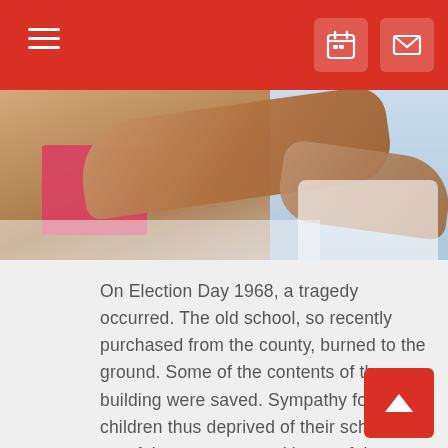Navigation bar with hamburger menu, calendar icon, and mail icon
[Figure (photo): Close-up photo of an elderly person's crossed arms resting on a surface, with a pink/red binder visible and a light blue background on the right side.]
On Election Day 1968, a tragedy occurred. The old school, so recently purchased from the county, burned to the ground. Some of the contents of the building were saved. Sympathy for the children thus deprived of their school was felt among many citizens of the county and donations to the Foundation were accepted.